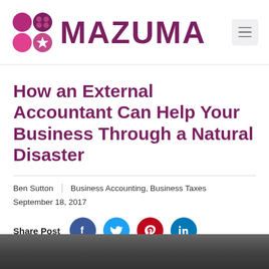MAZUMA
How an External Accountant Can Help Your Business Through a Natural Disaster
Ben Sutton | Business Accounting, Business Taxes
September 18, 2017
Share Post
[Figure (photo): Dark photograph partially visible at the bottom of the page]